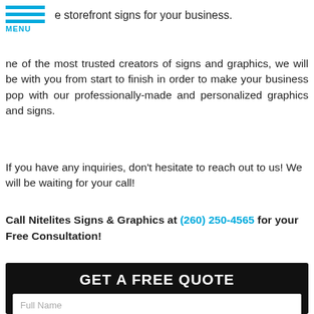[Figure (other): Blue hamburger menu icon with three horizontal lines and MENU label below]
e storefront signs for your business.
ne of the most trusted creators of signs and graphics, we will be with you from start to finish in order to make your business pop with our professionally-made and personalized graphics and signs.
If you have any inquiries, don’t hesitate to reach out to us! We will be waiting for your call!
Call Nitelites Signs & Graphics at (260) 250-4565 for your Free Consultation!
[Figure (screenshot): Black contact form with GET A FREE QUOTE header, fields for Full Name, Best Phone, Email Address, and What type and size of signage do you need?, with phone and email icon buttons]